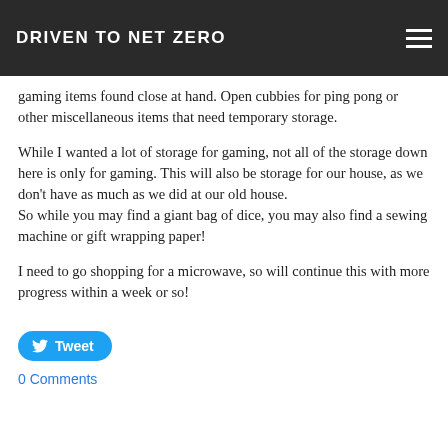DRIVEN TO NET ZERO
gaming items found close at hand. Open cubbies for ping pong or other miscellaneous items that need temporary storage.
While I wanted a lot of storage for gaming, not all of the storage down here is only for gaming. This will also be storage for our house, as we don't have as much as we did at our old house.
So while you may find a giant bag of dice, you may also find a sewing machine or gift wrapping paper!
I need to go shopping for a microwave, so will continue this with more progress within a week or so!
Tweet
0 Comments